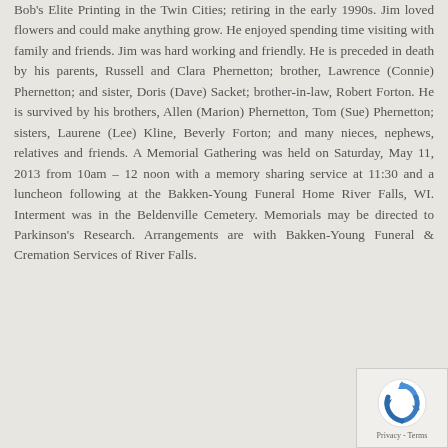Bob's Elite Printing in the Twin Cities; retiring in the early 1990s. Jim loved flowers and could make anything grow. He enjoyed spending time visiting with family and friends. Jim was hard working and friendly. He is preceded in death by his parents, Russell and Clara Phernetton; brother, Lawrence (Connie) Phernetton; and sister, Doris (Dave) Sacket; brother-in-law, Robert Forton. He is survived by his brothers, Allen (Marion) Phernetton, Tom (Sue) Phernetton; sisters, Laurene (Lee) Kline, Beverly Forton; and many nieces, nephews, relatives and friends. A Memorial Gathering was held on Saturday, May 11, 2013 from 10am – 12 noon with a memory sharing service at 11:30 and a luncheon following at the Bakken-Young Funeral Home River Falls, WI. Interment was in the Beldenville Cemetery. Memorials may be directed to Parkinson's Research. Arrangements are with Bakken-Young Funeral & Cremation Services of River Falls.
[Figure (logo): reCAPTCHA logo icon — circular arrows forming a recycling-style symbol in blue, with partial label text below]